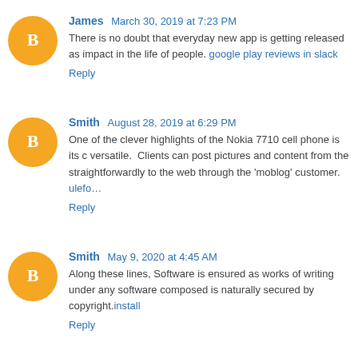James  March 30, 2019 at 7:23 PM
There is no doubt that everyday new app is getting released as impact in the life of people. google play reviews in slack
Reply
Smith  August 28, 2019 at 6:29 PM
One of the clever highlights of the Nokia 7710 cell phone is its versatile. Clients can post pictures and content from the straightforwardly to the web through the 'moblog' customer. ulefo…
Reply
Smith  May 9, 2020 at 4:45 AM
Along these lines, Software is ensured as works of writing under any software composed is naturally secured by copyright.install
Reply
Elina Sam  June 20, 2020 at 11:01 PM
With Brandsoo, it's never been easier or more convenient to sho…